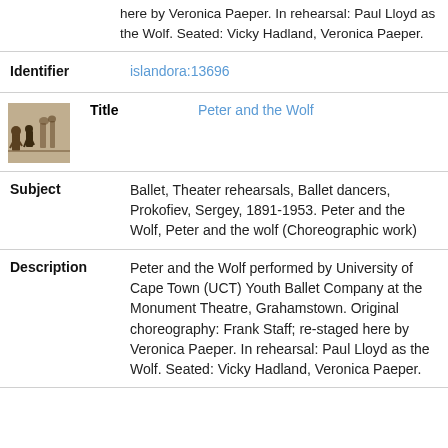here by Veronica Paeper. In rehearsal: Paul Lloyd as the Wolf. Seated: Vicky Hadland, Veronica Paeper.
Identifier
islandora:13696
[Figure (photo): Small thumbnail black and white photo of ballet rehearsal]
Title
Peter and the Wolf
Subject
Ballet, Theater rehearsals, Ballet dancers, Prokofiev, Sergey, 1891-1953. Peter and the Wolf, Peter and the wolf (Choreographic work)
Description
Peter and the Wolf performed by University of Cape Town (UCT) Youth Ballet Company at the Monument Theatre, Grahamstown. Original choreography: Frank Staff; re-staged here by Veronica Paeper. In rehearsal: Paul Lloyd as the Wolf. Seated: Vicky Hadland, Veronica Paeper.